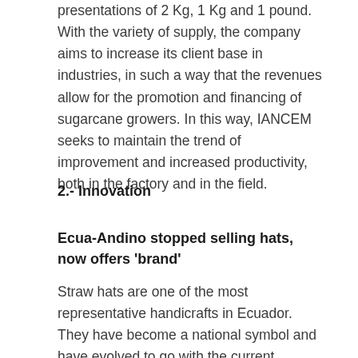presentations of 2 Kg, 1 Kg and 1 pound. With the variety of supply, the company aims to increase its client base in industries, in such a way that the revenues allow for the promotion and financing of sugarcane growers. In this way, IANCEM seeks to maintain the trend of improvement and increased productivity, both in the factory and in the field.
2.- Innovation
Ecua-Andino stopped selling hats, now offers 'brand'
Straw hats are one of the most representative handicrafts in Ecuador. They have become a national symbol and have evolved to go with the current fashion. One of those that makes it possible for this product to become virtually part of the world...